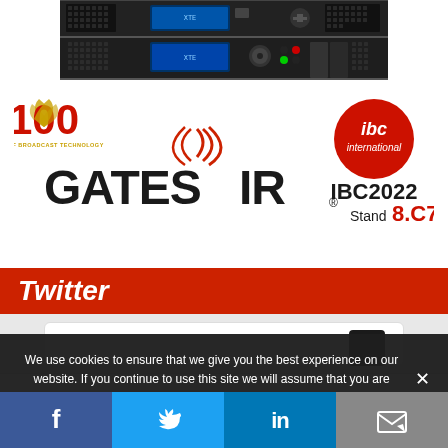[Figure (photo): Rack-mounted broadcast equipment units (GatesAir XTE transmitters) with blue LCD displays and black chassis]
[Figure (logo): GatesAir 100 Years of Broadcast Technology logo with signal wave graphic, and IBC2022 Stand 8.C73 badge]
Twitter
[Figure (screenshot): Partial Twitter feed widget with white card and dark avatar]
We use cookies to ensure that we give you the best experience on our website. If you continue to use this site we will assume that you are happy with it.
[Figure (infographic): Social share bar with Facebook, Twitter, LinkedIn, and email buttons]